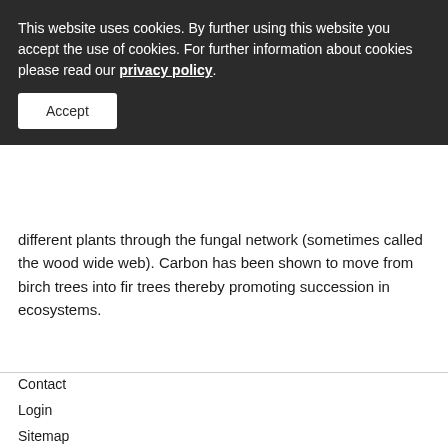This website uses cookies. By further using this website you accept the use of cookies. For further information about cookies please read our privacy policy.
Accept
different plants through the fungal network (sometimes called the wood wide web). Carbon has been shown to move from birch trees into fir trees thereby promoting succession in ecosystems.
Contact
Login
Sitemap
Privacy Policy
Imprint
© 2012 aurea systems GmbH, Neumarkt/Germany